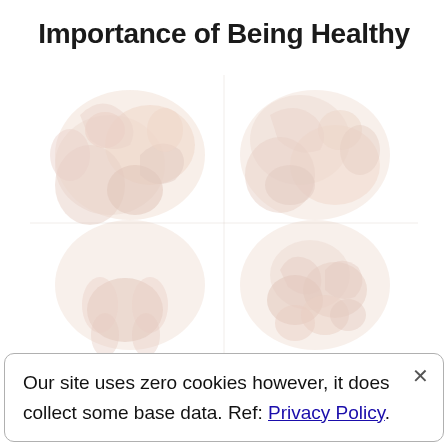Importance of Being Healthy
[Figure (illustration): Faded/watermark-style collage of health-related images including fruits, vegetables, and human figures, arranged in a two-column grid layout with very light pinkish-beige tones]
Our site uses zero cookies however, it does collect some base data. Ref: Privacy Policy.